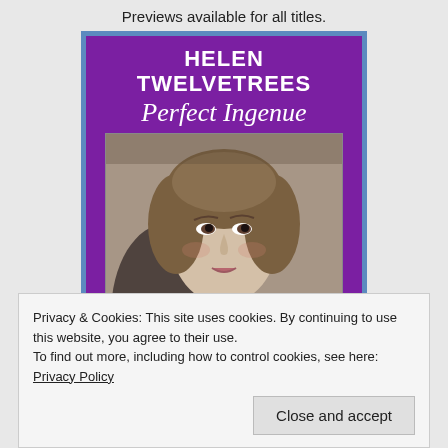Previews available for all titles.
[Figure (illustration): Book cover for 'Helen Twelvetrees: Perfect Ingenue' with purple background, bold white title text, italic script subtitle, and a black-and-white portrait photo of a woman with curly hair and pearl necklace. Bottom reads 'Foreword by Don Von Nesle'.]
Privacy & Cookies: This site uses cookies. By continuing to use this website, you agree to their use.
To find out more, including how to control cookies, see here: Privacy Policy
Close and accept